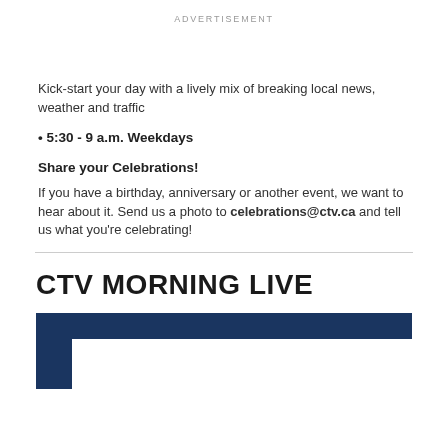ADVERTISEMENT
Kick-start your day with a lively mix of breaking local news, weather and traffic
• 5:30 - 9 a.m. Weekdays
Share your Celebrations!
If you have a birthday, anniversary or another event, we want to hear about it. Send us a photo to celebrations@ctv.ca and tell us what you're celebrating!
CTV MORNING LIVE
[Figure (other): Dark navy blue L-shaped graphic frame, partial image of CTV Morning Live branding]